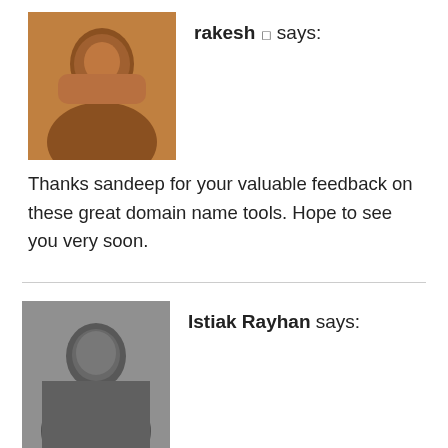[Figure (photo): Profile photo of rakesh, a man with dark complexion]
rakesh says:
Thanks sandeep for your valuable feedback on these great domain name tools. Hope to see you very soon.
[Figure (photo): Black and white profile photo of Istiak Rayhan]
Istiak Rayhan says:
When it comes to choose a domain name then one thing we should keep in mind that It's all about BRANDING. Domain name represents the business. Special thanks for the domain name generation tools.